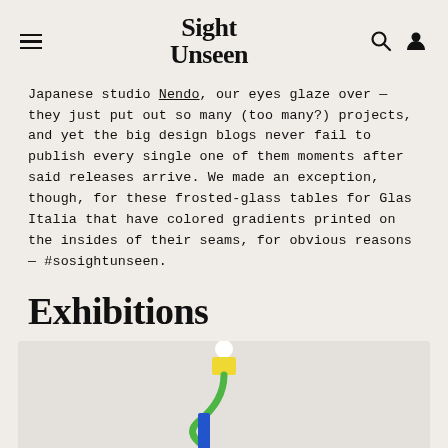Sight Unseen
Japanese studio Nendo, our eyes glaze over — they just put out so many (too many?) projects, and yet the big design blogs never fail to publish every single one of them moments after said releases arrive. We made an exception, though, for these frosted-glass tables for Glas Italia that have colored gradients printed on the insides of their seams, for obvious reasons — #sosightunseen.
Exhibitions
[Figure (photo): Partial photo of a design object — a lamp or sculptural piece with a white bulb on top, yellow cylindrical base, green curved wire/tube, and a blue vertical element, set against a light gray background.]